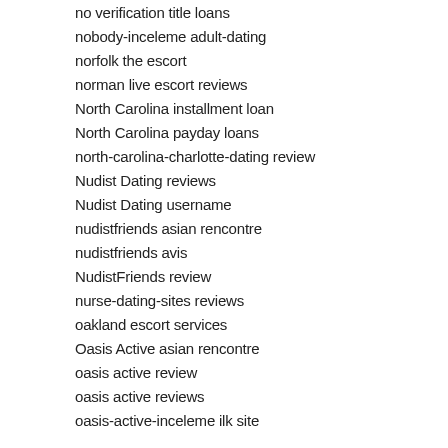no verification title loans
nobody-inceleme adult-dating
norfolk the escort
norman live escort reviews
North Carolina installment loan
North Carolina payday loans
north-carolina-charlotte-dating review
Nudist Dating reviews
Nudist Dating username
nudistfriends asian rencontre
nudistfriends avis
NudistFriends review
nurse-dating-sites reviews
oakland escort services
Oasis Active asian rencontre
oasis active review
oasis active reviews
oasis-active-inceleme ilk site